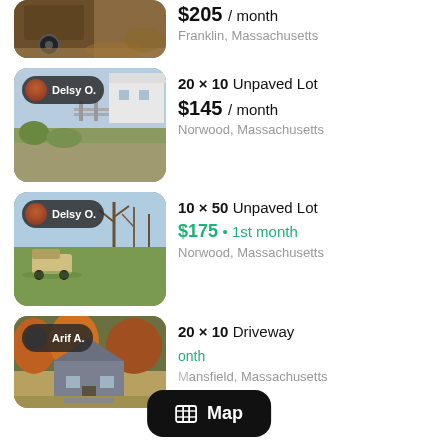[Figure (photo): Partially cropped photo of a utility trailer with a wheel visible, parked on gravel/leaves. No host badge.]
$205 / month
Franklin, Massachusetts
[Figure (photo): Photo of an unpaved grassy lot area with a fence and white building in background. Host badge: Delsy O.]
20 × 10 Unpaved Lot
$145 / month
Norwood, Massachusetts
[Figure (photo): Photo of an open grassy field with a truck parked. Bare trees in background. Host badge: Delsy O.]
10 × 50 Unpaved Lot
$175 • 1st month
Norwood, Massachusetts
[Figure (photo): Photo of a small house/cottage among autumn trees. Host badge: Arif A.]
20 × 10 Driveway
[Map overlay]
Mansfield, Massachusetts